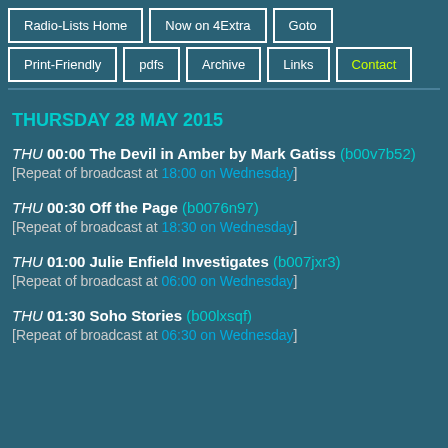Radio-Lists Home  Now on 4Extra  Goto  Print-Friendly  pdfs  Archive  Links  Contact
THURSDAY 28 MAY 2015
THU 00:00 The Devil in Amber by Mark Gatiss (b00v7b52) [Repeat of broadcast at 18:00 on Wednesday]
THU 00:30 Off the Page (b0076n97) [Repeat of broadcast at 18:30 on Wednesday]
THU 01:00 Julie Enfield Investigates (b007jxr3) [Repeat of broadcast at 06:00 on Wednesday]
THU 01:30 Soho Stories (b00lxsqf) [Repeat of broadcast at 06:30 on Wednesday]